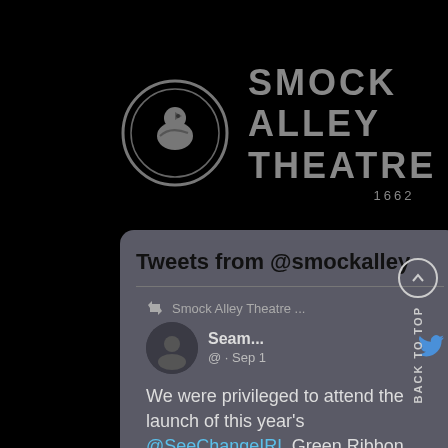[Figure (logo): Smock Alley Theatre logo with circular bird emblem and text 'SMOCK ALLEY THEATRE 1662' in grey on black background]
Tweets from @smockalley
Smock Alley Theatre ...
Seam... @ · Sep 1
We were privileged to attend the launch of this year's @SeeChangeIRL Green Ribbon campaign @smockalley which...
BACK TO TOP